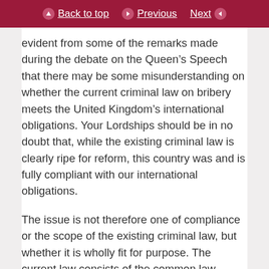Back to top   Previous   Next
evident from some of the remarks made during the debate on the Queen’s Speech that there may be some misunderstanding on whether the current criminal law on bribery meets the United Kingdom’s international obligations. Your Lordships should be in no doubt that, while the existing criminal law is clearly ripe for reform, this country was and is fully compliant with our international obligations.
The issue is not therefore one of compliance or the scope of the existing criminal law, but whether it is wholly fit for purpose. The current law consists of the common law offence of bribery dating back to at least Magna Carta, and various statutory offences, brigaded under the banner of the Prevention of Corruption Acts, enacted in the latter part of the